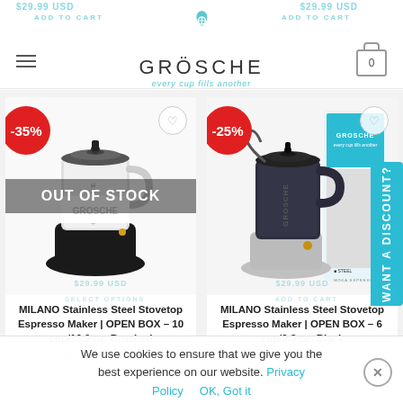[Figure (screenshot): GROSCHE e-commerce website screenshot showing header with logo, two product cards for MILANO Stainless Steel Stovetop Espresso Makers with discount badges (-35% and -25%), an 'OUT OF STOCK' overlay on the left product, a 'WANT A DISCOUNT?' tab on the right side, and a cookie consent banner at the bottom.]
GROSCHE — every cup fills another | ADD TO CART
MILANO Stainless Steel Stovetop Espresso Maker | OPEN BOX – 10 cup/16.9 oz. Brushed
MILANO Stainless Steel Stovetop Espresso Maker | OPEN BOX – 6 cup/9.3 oz. Black
We use cookies to ensure that we give you the best experience on our website. Privacy Policy   OK, Got it